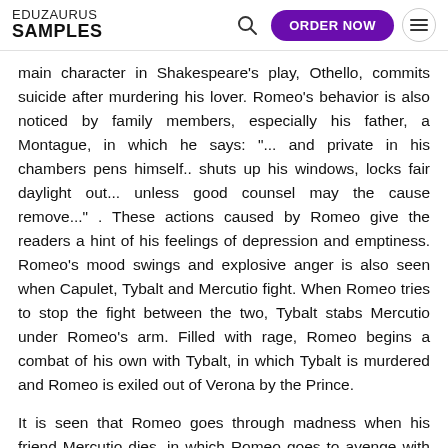EDUZAURUS SAMPLES
main character in Shakespeare's play, Othello, commits suicide after murdering his lover. Romeo's behavior is also noticed by family members, especially his father, a Montague, in which he says: "... and private in his chambers pens himself.. shuts up his windows, locks fair daylight out... unless good counsel may the cause remove...". These actions caused by Romeo give the readers a hint of his feelings of depression and emptiness. Romeo's mood swings and explosive anger is also seen when Capulet, Tybalt and Mercutio fight. When Romeo tries to stop the fight between the two, Tybalt stabs Mercutio under Romeo's arm. Filled with rage, Romeo begins a combat of his own with Tybalt, in which Tybalt is murdered and Romeo is exiled out of Verona by the Prince.
It is seen that Romeo goes through madness when his friend Mercutio dies, in which Romeo goes to avenge with Shakespeare and...